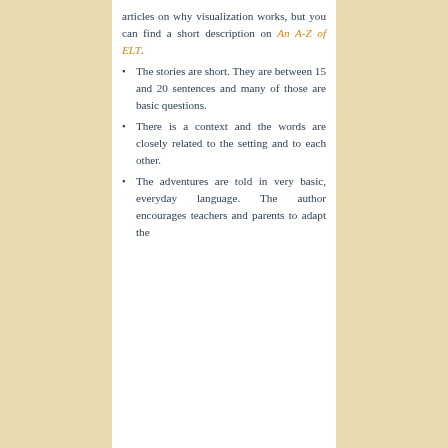articles on why visualization works, but you can find a short description on An A-Z of ELT.
The stories are short. They are between 15 and 20 sentences and many of those are basic questions.
There is a context and the words are closely related to the setting and to each other.
The adventures are told in very basic, everyday language. The author encourages teachers and parents to adapt the